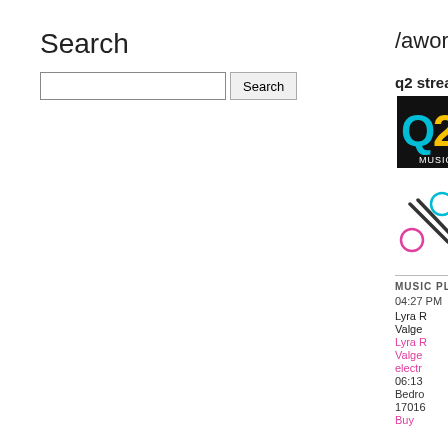Search
Search [input] [button]
/aworks data
q2 streaming
[Figure (logo): Q2 Music logo with cyan Q and yellow 2 on black background]
[Figure (logo): Scissors/cuts icon with cyan circle and pink circle on white background]
MUSIC PLAYLIST
04:27 PM  Offeri
Lyra R
Valge
Lyra R
Valge
electr
06:13
Bedro
17016
Buy